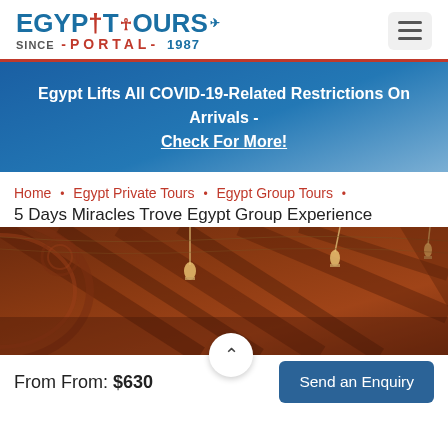[Figure (logo): Egypt Tours Portal logo with ankh symbol and airplane, 'SINCE - PORTAL - 1987' tagline]
Egypt Lifts All COVID-19-Related Restrictions On Arrivals - Check For More!
Home • Egypt Private Tours • Egypt Group Tours •
5 Days Miracles Trove Egypt Group Experience
[Figure (photo): Interior photo of ornate Egyptian ceiling with hanging lanterns and carved wooden details in warm red/brown tones]
From From: $630
Send an Enquiry